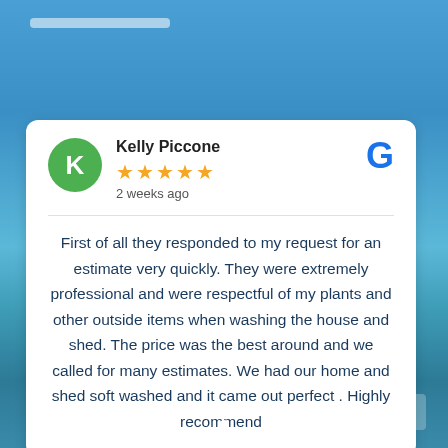[Figure (photo): Background photo of a building with blue sky and clouds]
Kelly Piccone
★★★★★
2 weeks ago
First of all they responded to my request for an estimate very quickly. They were extremely professional and were respectful of my plants and other outside items when washing the house and shed. The price was the best around and we called for many estimates. We had our home and shed soft washed and it came out perfect . Highly recommend